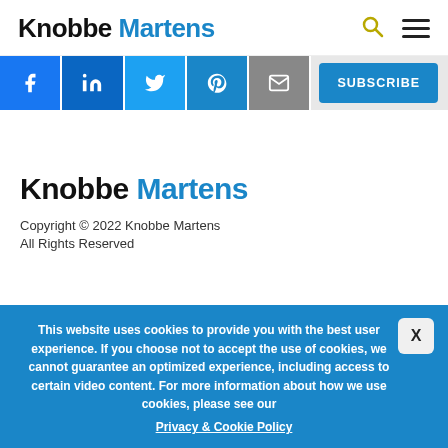Knobbe Martens
[Figure (screenshot): Social media icons bar with Facebook, LinkedIn, Twitter, Pinterest, YouTube icons and a SUBSCRIBE button]
Knobbe Martens
Copyright © 2022 Knobbe Martens
All Rights Reserved
This website uses cookies to provide you with the best user experience. If you choose not to accept the use of cookies, we cannot guarantee an optimized experience, including access to certain video content. For more information about how we use cookies, please see our Privacy & Cookie Policy